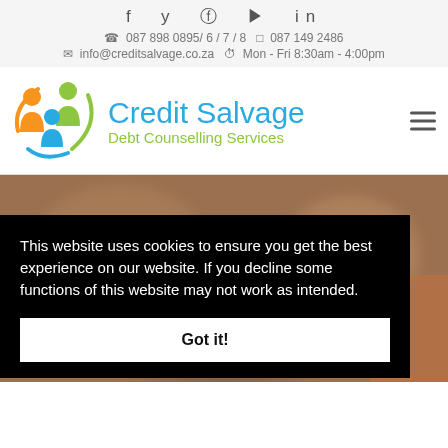f  y  ⊕  ▶  in
☎ 087 898 0895/ 6 / 7 / 8   ☐ 087 149 2486
✉ info@creditsalvage.co.za   ⏱ Mon - Fri 8:30am - 4:00pm
[Figure (logo): Credit Salvage Debt Counselling Services logo with orange, green, and blue circular figures]
Credit Salvage
Debt Counselling Services
[Figure (photo): Blurred background photo showing coins/money]
This website uses cookies to ensure you get the best experience on our website. If you decline some functions of this website may not work as intended.
Got it!